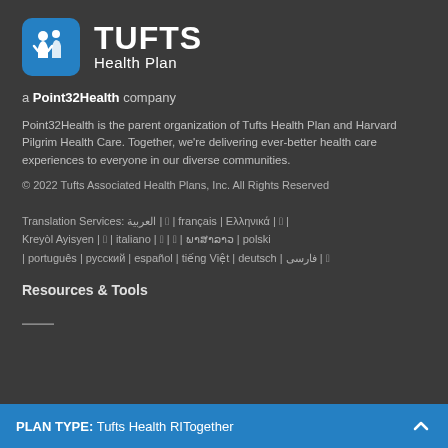[Figure (logo): Tufts Health Plan logo with blue rounded square icon showing two stylized figures, and white text 'TUFTS Health Plan']
a Point32Health company
Point32Health is the parent organization of Tufts Health Plan and Harvard Pilgrim Health Care. Together, we're delivering ever-better health care experiences to everyone in our diverse communities.
© 2022 Tufts Associated Health Plans, Inc. All Rights Reserved
Translation Services: العربية | 繁體字 | français | Ελληνικά | 中文 | Kreyòl Ayisyen | hn（no | italiano | 日本語 | 한국어 | ພາສາລາວ | polski | português | русский | español | tiếng Việt | deutsch | فارسی | 簡體字
Resources & Tools
PLAN TYPE: Tufts Health RITogether